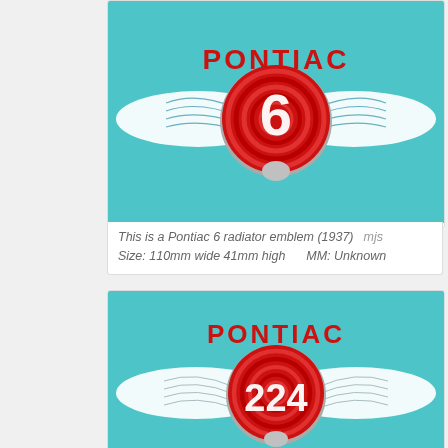[Figure (photo): Pontiac 6 radiator emblem (1937) - chrome winged badge with red circular center showing number 6, on teal background]
This is a Pontiac 6 radiator emblem (1937)    mjs
 Size: 110mm wide 41mm high      MM: Unknown
[Figure (photo): Pontiac 224 radiator emblem - chrome winged badge with red circular center showing number 224, on teal background, with PONTIAC text above]